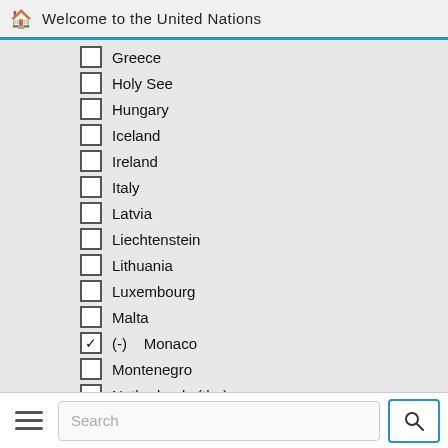Welcome to the United Nations
Greece
Holy See
Hungary
Iceland
Ireland
Italy
Latvia
Liechtenstein
Lithuania
Luxembourg
Malta
(-) Monaco (checked)
Montenegro
Netherlands (the)
North Macedonia
Norway
Poland (partially visible)